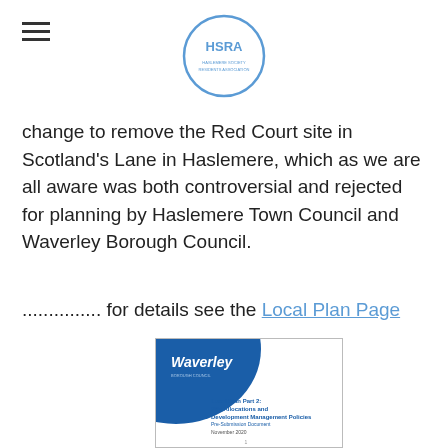HSRA
change to remove the Red Court site in Scotland's Lane in Haslemere, which as we are all aware was both controversial and rejected for planning by Haslemere Town Council and Waverley Borough Council.
............... for details see the Local Plan Page
[Figure (photo): Cover of Waverley Local Plan Part 2: Site Allocations and Development Management Policies, Pre-Submission Document, November 2020]